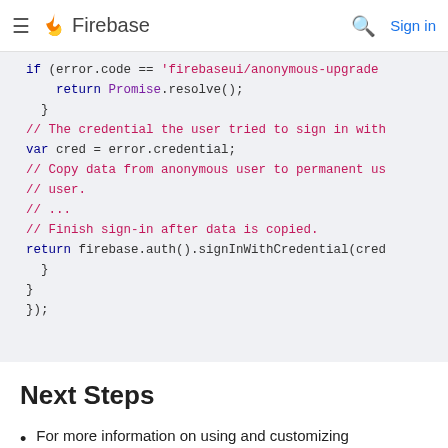Firebase
[Figure (screenshot): Code block showing JavaScript Firebase authentication snippet with syntax highlighting on a light gray background]
Next Steps
For more information on using and customizing